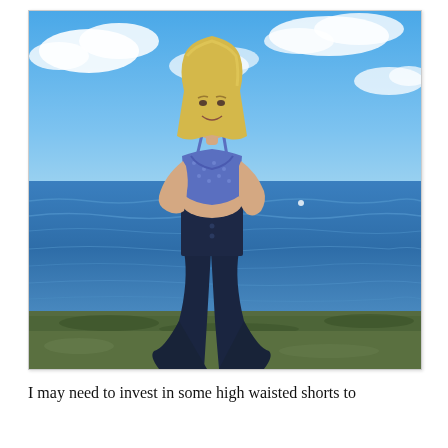[Figure (photo): A blonde woman standing outdoors by the waterside, smiling. She is wearing a blue patterned halter crop top and high-waisted dark navy wide-leg pants. The background shows a large body of water with gentle waves, a green shoreline in the distance, and a partly cloudy blue sky.]
I may need to invest in some high waisted shorts to